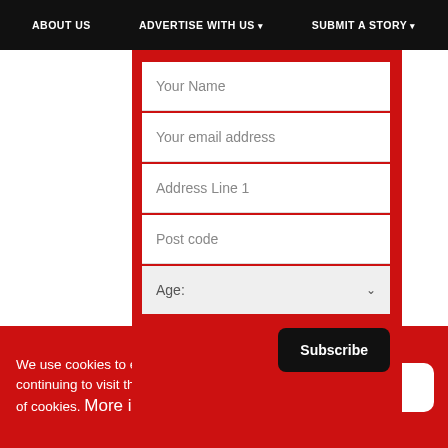ABOUT US   ADVERTISE WITH US ▾   SUBMIT A STORY ▾
[Figure (screenshot): Website subscription form with fields: Your Name, Your email address, Address Line 1, Post code, Age (dropdown), and a Subscribe button on red background]
Chilterns Walking Festival
We use cookies to enhance your experience. By continuing to visit this site you agree to our use of cookies. More info
Got it!